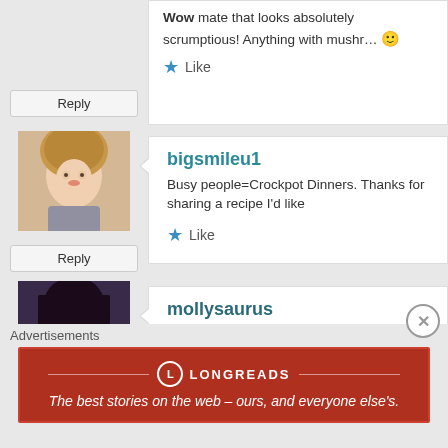Wow mate that looks absolutely scrumptious! Anything with mushro… 🙂
★ Like
[Figure (photo): Avatar photo of bigsmileu1 - woman with blonde/brown hair]
Reply
bigsmileu1
Busy people=Crockpot Dinners. Thanks for sharing a recipe I'd like
★ Like
[Figure (photo): Avatar photo of mollysaurus - woman with dark hair]
Reply
mollysaurus
What an easy recipe! Looks delicious 🙂
★ Like
[Figure (illustration): Cartoon avatar - orange box character with legs]
Reply
Gluten-free Medley
I'll bet that would work with my husband's wallet too, or maybe his c… probably won't see it right in front of his nose!!
Advertisements
[Figure (infographic): Longreads advertisement banner - dark red background with text: The best stories on the web – ours, and everyone else's.]